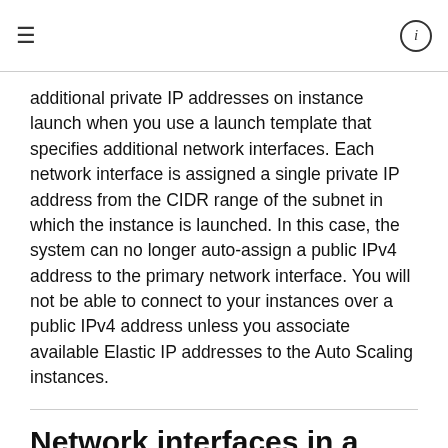≡   ⓘ
additional private IP addresses on instance launch when you use a launch template that specifies additional network interfaces. Each network interface is assigned a single private IP address from the CIDR range of the subnet in which the instance is launched. In this case, the system can no longer auto-assign a public IPv4 address to the primary network interface. You will not be able to connect to your instances over a public IPv4 address unless you associate available Elastic IP addresses to the Auto Scaling instances.
Network interfaces in a VPC
Each instance in your VPC has a default network interface (the primary network interface). You cannot detach a primary network interface from an instance